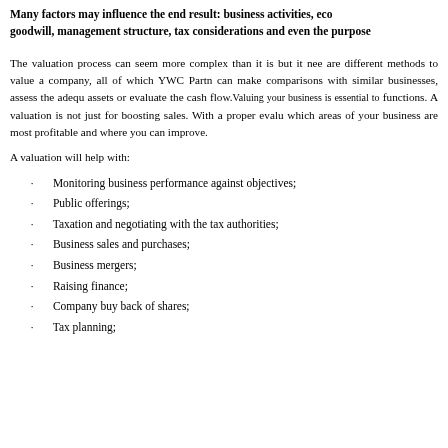Many factors may influence the end result: business activities, economic goodwill, management structure, tax considerations and even the purpose
The valuation process can seem more complex than it is but it needs are different methods to value a company, all of which YWC Partners can make comparisons with similar businesses, assess the adequacy of assets or evaluate the cash flow. Valuing your business is essential to functions. A valuation is not just for boosting sales. With a proper evaluation which areas of your business are most profitable and where you can improve.
A valuation will help with:
Monitoring business performance against objectives;
Public offerings;
Taxation and negotiating with the tax authorities;
Business sales and purchases;
Business mergers;
Raising finance;
Company buy back of shares;
Tax planning;